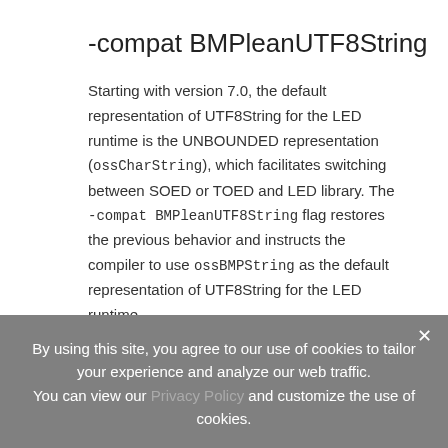-compat BMPleanUTF8String
Starting with version 7.0, the default representation of UTF8String for the LED runtime is the UNBOUNDED representation (ossCharString), which facilitates switching between SOED or TOED and LED library. The -compat BMPleanUTF8String flag restores the previous behavior and instructs the compiler to use ossBMPString as the default representation of UTF8String for the LED runtime.
By using this site, you agree to our use of cookies to tailor your experience and analyze our web traffic. You can view our Privacy Policy and customize the use of cookies.